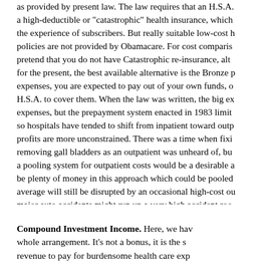as provided by present law. The law requires that an H.S.A. a high-deductible or "catastrophic" health insurance, which the experience of subscribers. But really suitable low-cost h policies are not provided by Obamacare. For cost comparis pretend that you do not have Catastrophic re-insurance, alt for the present, the best available alternative is the Bronze p expenses, you are expected to pay out of your own funds, o H.S.A. to cover them. When the law was written, the big ex expenses, but the prepayment system enacted in 1983 limit so hospitals have tended to shift from inpatient toward outp profits are more unconstrained. There was a time when fixi removing gall bladders as an outpatient was unheard of, bu a pooling system for outpatient costs would be a desirable a be plenty of money in this approach which could be pooled average will still be disrupted by an occasional high-cost ou major auto accidents might run up a very high accident roo not be covered, even though the average was well in surplu would cover such eventualities, but their interest rates are h better if investment houses provided loan funds for this pur If you must borrow, liquidate the loan at the earliest possib
Compound Investment Income. Here, we have whole arrangement. It's not a bonus, it is the s revenue to pay for burdensome health care exp